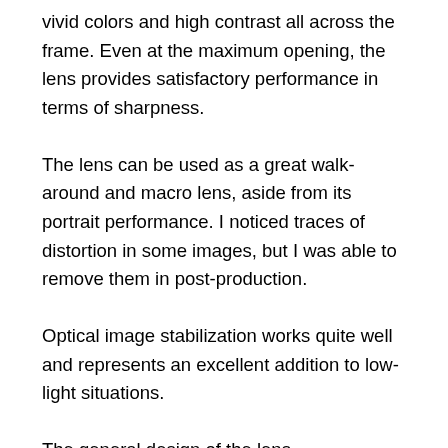vivid colors and high contrast all across the frame. Even at the maximum opening, the lens provides satisfactory performance in terms of sharpness.
The lens can be used as a great walk-around and macro lens, aside from its portrait performance. I noticed traces of distortion in some images, but I was able to remove them in post-production.
Optical image stabilization works quite well and represents an excellent addition to low-light situations.
The general design of the lens complements its